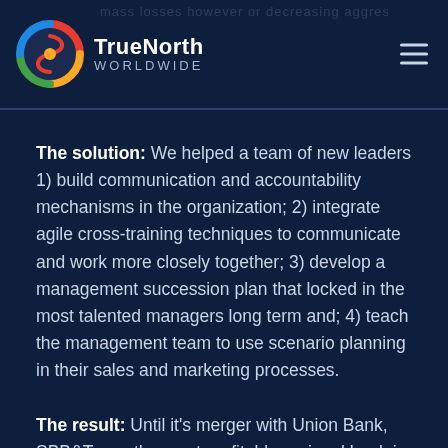TrueNorth WORLDWIDE
The solution: We helped a team of new leaders 1) build communication and accountability mechanisms in the organization; 2) integrate agile cross-training techniques to communicate and work more closely together; 3) develop a management succession plan that locked in the most talented managers long term and; 4) teach the management team to use scenario planning in their sales and marketing processes.
The result: Until it’s merger with Union Bank, SBB&T was the most profitable regional bank in California with the highest customer satisfaction rankings in the region.